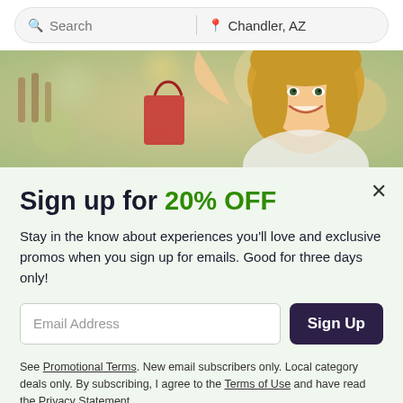Search | Chandler, AZ
[Figure (photo): A smiling blonde woman holding shopping bags in a store environment, blurred colorful background]
Sign up for 20% OFF
Stay in the know about experiences you'll love and exclusive promos when you sign up for emails. Good for three days only!
Email Address [input field] Sign Up [button]
See Promotional Terms. New email subscribers only. Local category deals only. By subscribing, I agree to the Terms of Use and have read the Privacy Statement